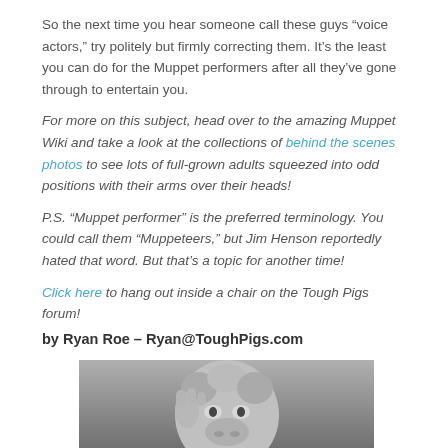So the next time you hear someone call these guys “voice actors,” try politely but firmly correcting them. It’s the least you can do for the Muppet performers after all they’ve gone through to entertain you.
For more on this subject, head over to the amazing Muppet Wiki and take a look at the collections of behind the scenes photos to see lots of full-grown adults squeezed into odd positions with their arms over their heads!
P.S. “Muppet performer” is the preferred terminology. You could call them “Muppeteers,” but Jim Henson reportedly hated that word. But that’s a topic for another time!
Click here to hang out inside a chair on the Tough Pigs forum!
by Ryan Roe – Ryan@ToughPigs.com
[Figure (photo): Black and white photo of Miss Piggy muppet looking upward, partially cropped at bottom of page]